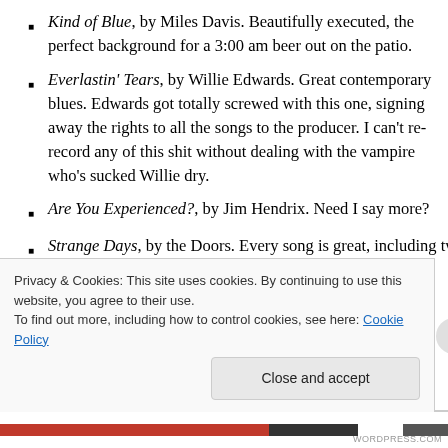Kind of Blue, by Miles Davis. Beautifully executed, the perfect background for a 3:00 am beer out on the patio.
Everlastin' Tears, by Willie Edwards. Great contemporary blues. Edwards got totally screwed with this one, signing away the rights to all the songs to the producer. I can't re-record any of this shit without dealing with the vampire who's sucked Willie dry.
Are You Experienced?, by Jim Hendrix. Need I say more?
Strange Days, by the Doors. Every song is great, including two hard-to-play masterpieces. "Love Me Two
Privacy & Cookies: This site uses cookies. By continuing to use this website, you agree to their use.
To find out more, including how to control cookies, see here: Cookie Policy
Close and accept